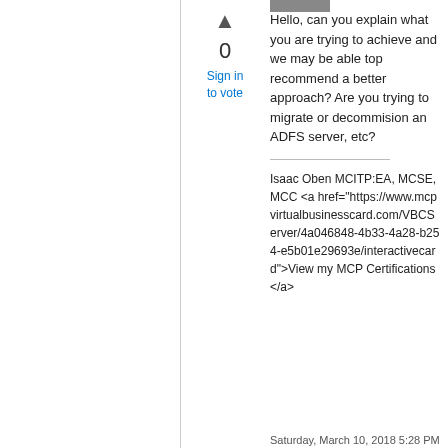[Figure (other): Gray bar/avatar placeholder at top]
0
Sign in to vote
Hello, can you explain what you are trying to achieve and we may be able top recommend a better approach? Are you trying to migrate or decommision an ADFS server, etc?
Isaac Oben MCITP:EA, MCSE,MCC <a href="https://www.mcpvirtualbusinesscard.com/VBCServer/4a046848-4b33-4a28-b254-e5b01e29693e/interactivecard">View my MCP Certifications</a>
Saturday, March 10, 2018 5:28 PM